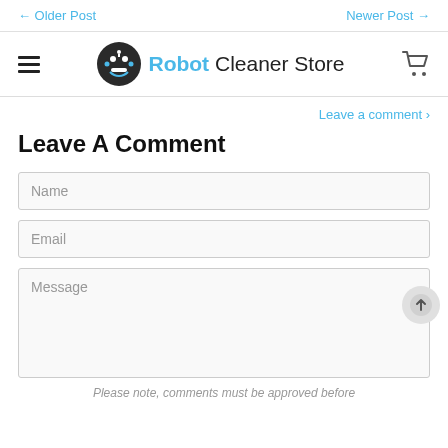← Older Post    Newer Post →
[Figure (logo): Robot Cleaner Store logo with robot face icon and blue/black text]
Leave a comment ›
Leave A Comment
Name
Email
Message
Please note, comments must be approved before